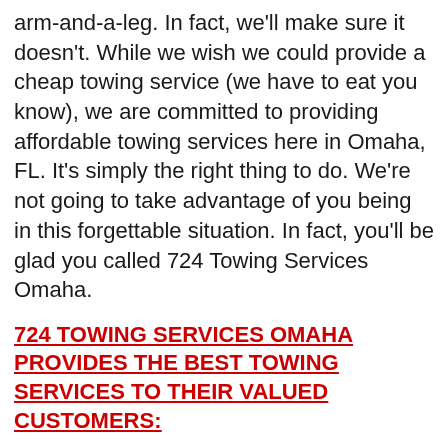arm-and-a-leg. In fact, we'll make sure it doesn't. While we wish we could provide a cheap towing service (we have to eat you know), we are committed to providing affordable towing services here in Omaha, FL. It's simply the right thing to do. We're not going to take advantage of you being in this forgettable situation. In fact, you'll be glad you called 724 Towing Services Omaha.
724 TOWING SERVICES OMAHA PROVIDES THE BEST TOWING SERVICES TO THEIR VALUED CUSTOMERS:
We are available 24 hours a day, 7 days a week. If